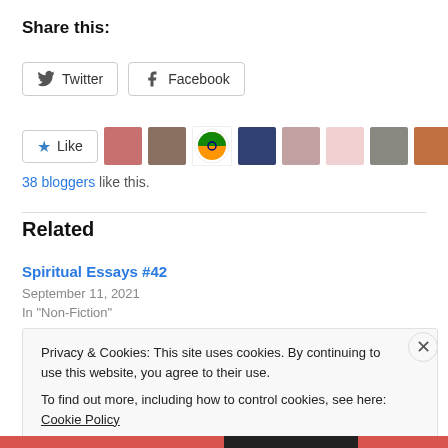Share this:
Twitter  Facebook
[Figure (other): Like button with star icon followed by a row of blogger avatar thumbnails]
38 bloggers like this.
Related
Spiritual Essays #42
September 11, 2021
In "Non-Fiction"
Privacy & Cookies: This site uses cookies. By continuing to use this website, you agree to their use.
To find out more, including how to control cookies, see here: Cookie Policy
Close and accept